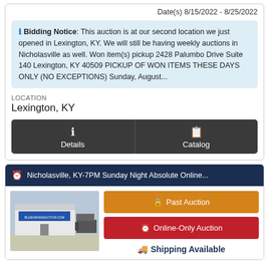Date(s) 8/15/2022 - 8/25/2022
Bidding Notice: This auction is at our second location we just opened in Lexington, KY. We will still be having weekly auctions in Nicholasville as well. Won item(s) pickup 2428 Palumbo Drive Suite 140 Lexington, KY 40509 PICKUP OF WON ITEMS THESE DAYS ONLY (NO EXCEPTIONS) Sunday, August...
LOCATION
Lexington, KY
Details
Catalog
Nicholasville, KY-7PM Sunday Night Absolute Online...
[Figure (photo): Exterior photo of a bluegrass auction building with trailers in the parking lot]
Past Auction
Online-Only Auction
Shipping Available